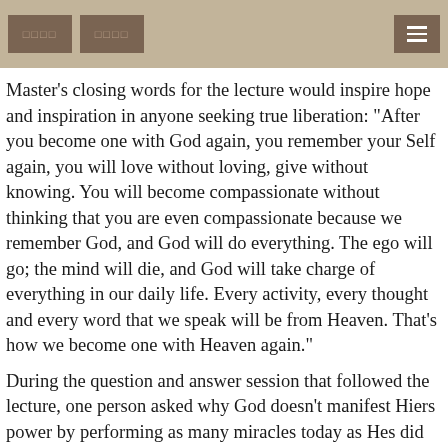□□□□  □□□□  ≡
Master's closing words for the lecture would inspire hope and inspiration in anyone seeking true liberation: "After you become one with God again, you remember your Self again, you will love without loving, give without knowing. You will become compassionate without thinking that you are even compassionate because we remember God, and God will do everything. The ego will go; the mind will die, and God will take charge of everything in our daily life. Every activity, every thought and every word that we speak will be from Heaven. That's how we become one with Heaven again."
During the question and answer session that followed the lecture, one person asked why God doesn't manifest Hiers power by performing as many miracles today as Hes did in the time of the saints. Master answered by saying that God is still performing miracles every day. However, since we are accustomed to seeing the world with only our physical eyes, we fail to behold these miracles with our heavenly eye.